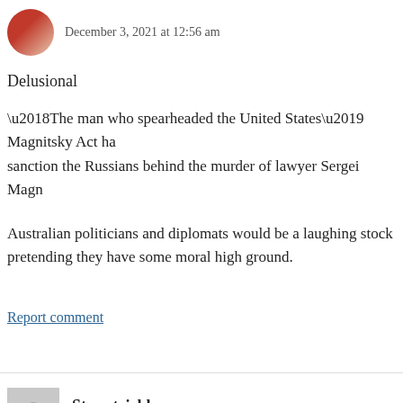December 3, 2021 at 12:56 am
Delusional
‘The man who spearheaded the United States’ Magnitsky Act ha sanction the Russians behind the murder of lawyer Sergei Magn in human rights abuses in Xinjiang after adopting a historic new
Australian politicians and diplomats would be a laughing stock pretending they have some moral high ground.
Report comment
Steve trickler says: December 3, 2021 at 12:57 am